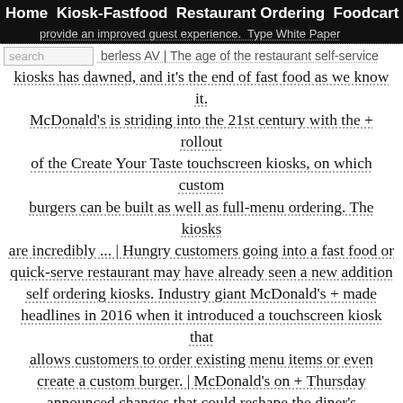Home  Kiosk-Fastfood  Restaurant Ordering  Foodcart
provide an improved guest experience. Type White Paper ... berless AV
The age of the restaurant self-service kiosks has dawned, and it's the end of fast food as we know it. McDonald's is striding into the 21st century with the + rollout of the Create Your Taste touchscreen kiosks, on which custom burgers can be built as well as full-menu ordering. The kiosks are incredibly ... | Hungry customers going into a fast food or quick-serve restaurant may have already seen a new addition self ordering kiosks. Industry giant McDonald's + made headlines in 2016 when it introduced a touchscreen kiosk that allows customers to order existing menu items or even create a custom burger. | McDonald's on + Thursday announced changes that could reshape the diner's experience, saying that it would expand its digital self-serve ordering stations and table service to all of its 14,000 American restaurants. The company said once people order